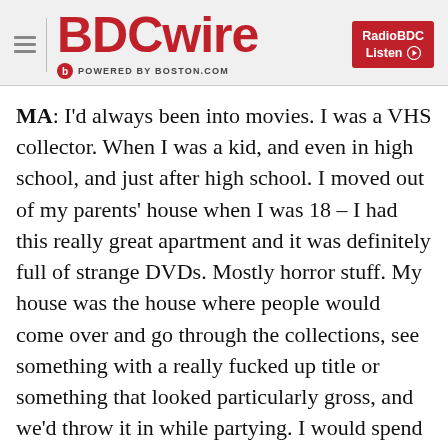BDCwire — POWERED BY BOSTON.COM
MA: I'd always been into movies. I was a VHS collector. When I was a kid, and even in high school, and just after high school. I moved out of my parents' house when I was 18 – I had this really great apartment and it was definitely full of strange DVDs. Mostly horror stuff. My house was the house where people would come over and go through the collections, see something with a really fucked up title or something that looked particularly gross, and we'd throw it in while partying. I would spend a lot of time trying to find strange films to put on while we were throwing